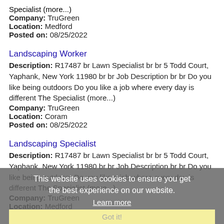Specialist (more...)
Company: TruGreen
Location: Medford
Posted on: 08/25/2022
Landscaping Worker
Description: R17487 br Lawn Specialist br br 5 Todd Court, Yaphank, New York 11980 br br Job Description br br Do you like being outdoors Do you like a job where every day is different The Specialist (more...)
Company: TruGreen
Location: Coram
Posted on: 08/25/2022
Landscaping Specialist
Description: R17487 br Lawn Specialist br br 5 Todd Court, Yaphank, New York 11980 br br Job Description br br Do you like being outdoors Do you like a job where every day is different The Specialist (more...)
Company: TruGreen
Location: Medford
Posted on: 08/25/2022
Lawn Maintenance
This website uses cookies to ensure you get the best experience on our website.
Learn more
Got it!